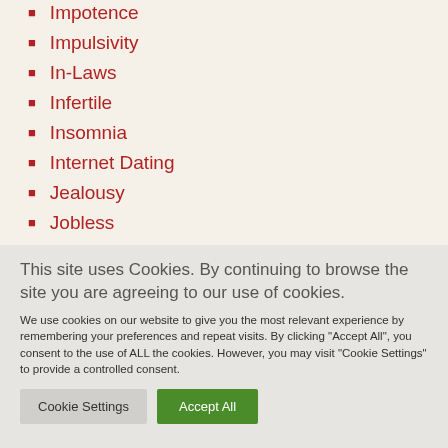Impotence
Impulsivity
In-Laws
Infertile
Insomnia
Internet Dating
Jealousy
Jobless
This site uses Cookies. By continuing to browse the site you are agreeing to our use of cookies. We use cookies on our website to give you the most relevant experience by remembering your preferences and repeat visits. By clicking "Accept All", you consent to the use of ALL the cookies. However, you may visit "Cookie Settings" to provide a controlled consent.